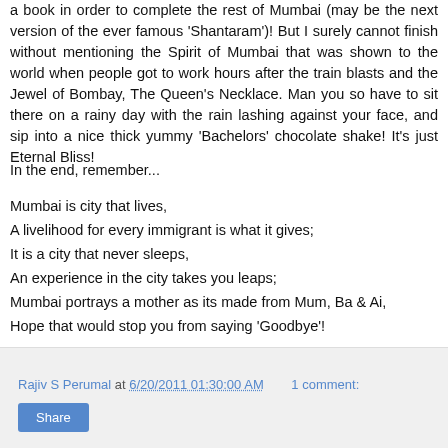a book in order to complete the rest of Mumbai (may be the next version of the ever famous 'Shantaram')! But I surely cannot finish without mentioning the Spirit of Mumbai that was shown to the world when people got to work hours after the train blasts and the Jewel of Bombay, The Queen's Necklace. Man you so have to sit there on a rainy day with the rain lashing against your face, and sip into a nice thick yummy 'Bachelors' chocolate shake! It's just Eternal Bliss!
In the end, remember...
Mumbai is city that lives,
A livelihood for every immigrant is what it gives;
It is a city that never sleeps,
An experience in the city takes you leaps;
Mumbai portrays a mother as its made from Mum, Ba & Ai,
Hope that would stop you from saying 'Goodbye'!
Rajiv S Perumal at 6/20/2011 01:30:00 AM   1 comment:   Share